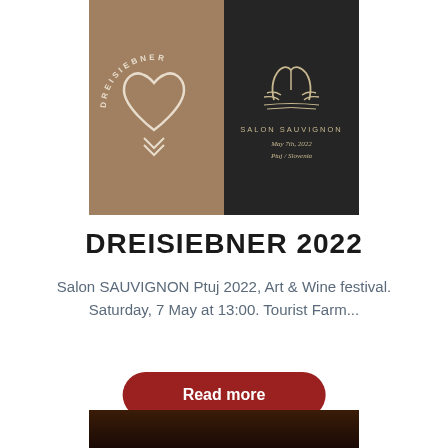[Figure (logo): Composite image with two panels: left panel has tan/brown background with DREISIEBNER circular text logo featuring a heart shape; right panel has dark background with swan/flamingo logo and text SALON SAUVIGNON, May 7th, 2022, Ptuj / Slovenia]
DREISIEBNER 2022
Salon SAUVIGNON Ptuj 2022, Art & Wine festival. Saturday, 7 May at 13:00. Tourist Farm...
Read more
[Figure (photo): Partial dark photo at the bottom of page, appears to show a person or scene in low light]